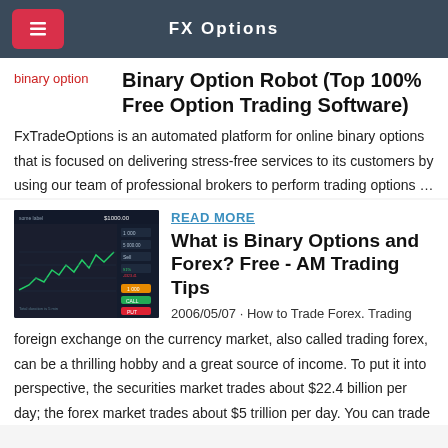FX Options
Binary Option Robot (Top 100% Free Option Trading Software)
FxTradeOptions is an automated platform for online binary options that is focused on delivering stress-free services to its customers by using our team of professional brokers to perform trading options …
[Figure (screenshot): Screenshot of a binary options trading platform showing a line chart on a dark background with $1000.00 balance displayed and various trading buttons]
READ MORE
What is Binary Options and Forex? Free - AM Trading Tips
2006/05/07 · How to Trade Forex. Trading foreign exchange on the currency market, also called trading forex, can be a thrilling hobby and a great source of income. To put it into perspective, the securities market trades about $22.4 billion per day; the forex market trades about $5 trillion per day. You can trade